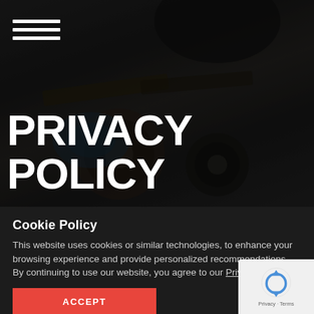[Figure (photo): Dark background photo of skateboards with wheels visible, used as hero image behind Privacy Policy title]
PRIVACY POLICY
Cookie Policy
This website uses cookies or similar technologies, to enhance your browsing experience and provide personalized recommendations. By continuing to use our website, you agree to our Privacy Policy.